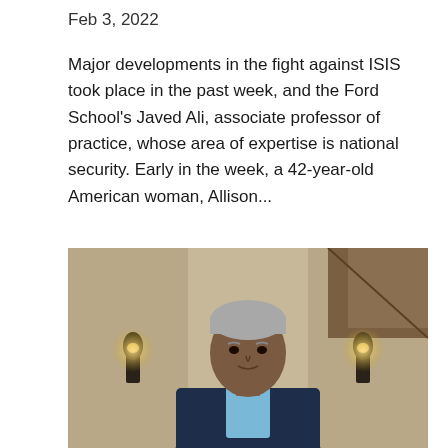Feb 3, 2022
Major developments in the fight against ISIS took place in the past week, and the Ford School's Javed Ali, associate professor of practice, whose area of expertise is national security. Early in the week, a 42-year-old American woman, Allison...
[Figure (photo): Portrait of Javed Ali, a middle-aged man with gray hair wearing a dark navy blazer and light blue shirt, standing indoors with wall sconces and a staircase visible in the background.]